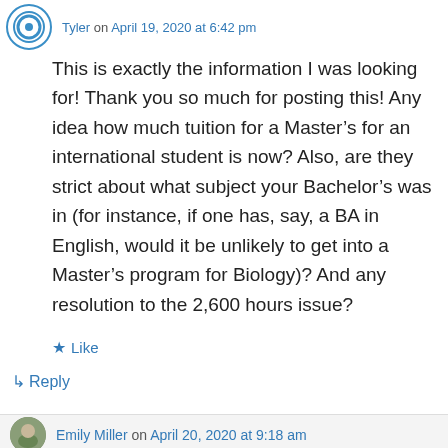Tyler on April 19, 2020 at 6:42 pm
This is exactly the information I was looking for! Thank you so much for posting this! Any idea how much tuition for a Master’s for an international student is now? Also, are they strict about what subject your Bachelor’s was in (for instance, if one has, say, a BA in English, would it be unlikely to get into a Master’s program for Biology)? And any resolution to the 2,600 hours issue?
★ Like
↳ Reply
Emily Miller on April 20, 2020 at 9:18 am